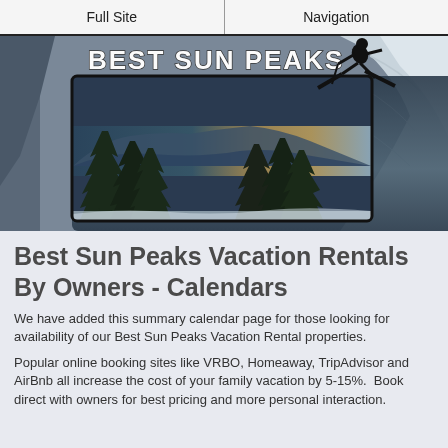Full Site | Navigation
[Figure (photo): Best Sun Peaks banner with skier jumping over snowy mountain scene with pine trees and mountains in background. 'BEST SUN PEAKS' logo text at top left.]
Best Sun Peaks Vacation Rentals By Owners - Calendars
We have added this summary calendar page for those looking for availability of our Best Sun Peaks Vacation Rental properties.
Popular online booking sites like VRBO, Homeaway, TripAdvisor and AirBnb all increase the cost of your family vacation by 5-15%.  Book direct with owners for best pricing and more personal interaction.